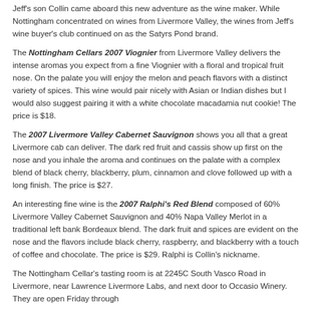Jeff's son Collin came aboard this new adventure as the wine maker. While Nottingham concentrated on wines from Livermore Valley, the wines from Jeff's wine buyer's club continued on as the Satyrs Pond brand.
The Nottingham Cellars 2007 Viognier from Livermore Valley delivers the intense aromas you expect from a fine Viognier with a floral and tropical fruit nose. On the palate you will enjoy the melon and peach flavors with a distinct variety of spices. This wine would pair nicely with Asian or Indian dishes but I would also suggest pairing it with a white chocolate macadamia nut cookie! The price is $18.
The 2007 Livermore Valley Cabernet Sauvignon shows you all that a great Livermore cab can deliver. The dark red fruit and cassis show up first on the nose and you inhale the aroma and continues on the palate with a complex blend of black cherry, blackberry, plum, cinnamon and clove followed up with a long finish. The price is $27.
An interesting fine wine is the 2007 Ralphi's Red Blend composed of 60% Livermore Valley Cabernet Sauvignon and 40% Napa Valley Merlot in a traditional left bank Bordeaux blend. The dark fruit and spices are evident on the nose and the flavors include black cherry, raspberry, and blackberry with a touch of coffee and chocolate. The price is $29. Ralphi is Collin's nickname.
The Nottingham Cellar's tasting room is at 2245C South Vasco Road in Livermore, near Lawrence Livermore Labs, and next door to Occasio Winery. They are open Friday through